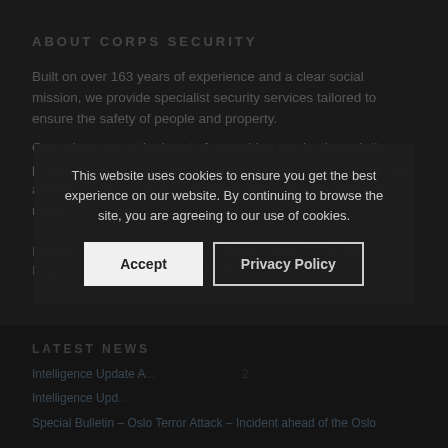ABOUT CORPS SECURITY
Built on over 163 years of experience and a clear social mission, we provide specialist security services tailored to ensure the safety of people and property.
Our values are at the heart of everything we do, through the people we work with, the people we employ, the people we help and the planet we protect. Together we protect the things that matter.
Registered Office at 85 Cowcross Street, London EC1M 6PF.  Registered in England No. 03473589
LATEST NEWS
Intelligence Update A... 2
Intelligence Upd...
Special Bulletin – Oslo Terror Attack – Incident ahead of the Oslo...
This website uses cookies to ensure you get the best experience on our website. By continuing to browse the site, you are agreeing to our use of cookies.